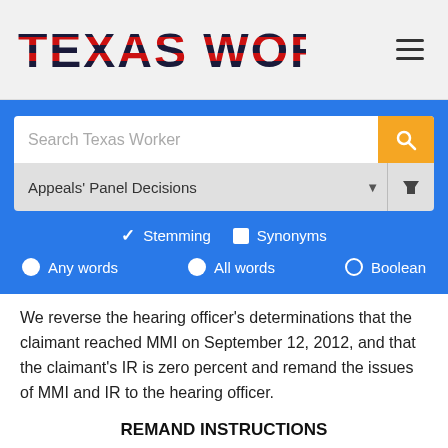TEXAS WORKER
[Figure (screenshot): Texas Worker website search interface with blue background, search bar for 'Appeals' Panel Decisions', Stemming/Synonyms checkboxes, Any words/All words/Boolean radio buttons]
We reverse the hearing officer's determinations that the claimant reached MMI on September 12, 2012, and that the claimant's IR is zero percent and remand the issues of MMI and IR to the hearing officer.
REMAND INSTRUCTIONS
Dr. C is the designated doctor in this case. On remand, the hearing officer is to re-evaluate the Dr. C still